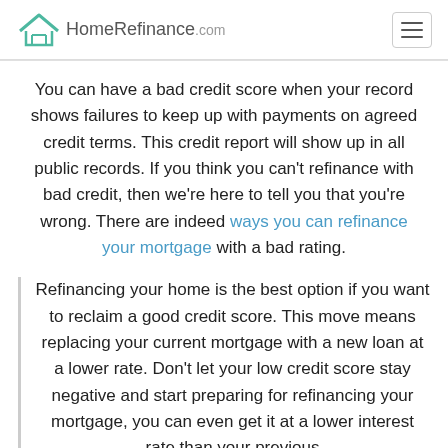HomeRefinance.com
You can have a bad credit score when your record shows failures to keep up with payments on agreed credit terms. This credit report will show up in all public records. If you think you can't refinance with bad credit, then we're here to tell you that you're wrong. There are indeed ways you can refinance your mortgage with a bad rating.
Refinancing your home is the best option if you want to reclaim a good credit score. This move means replacing your current mortgage with a new loan at a lower rate. Don't let your low credit score stay negative and start preparing for refinancing your mortgage, you can even get it at a lower interest rate than your previous